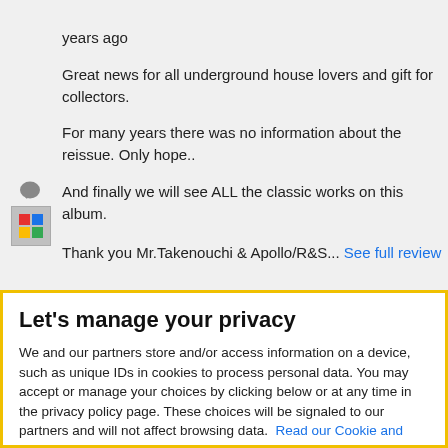years ago
Great news for all underground house lovers and gift for collectors.
For many years there was no information about the reissue. Only hope..
And finally we will see ALL the classic works on this album.

Thank you Mr.Takenouchi & Apollo/R&S... See full review
posted a comment on Ken Oath Records. over 6 years
Let's manage your privacy
We and our partners store and/or access information on a device, such as unique IDs in cookies to process personal data. You may accept or manage your choices by clicking below or at any time in the privacy policy page. These choices will be signaled to our partners and will not affect browsing data. Read our Cookie and Internet Advertising Policy